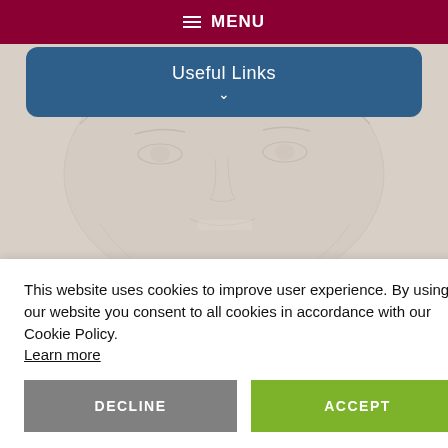≡ MENU
Useful Links ∨
[Figure (photo): Faint pencil sketch / washed-out photo of a person's face in close-up, appearing as a background image behind the navigation and cookie consent banner.]
This website uses cookies to improve user experience. By using our website you consent to all cookies in accordance with our Cookie Policy. Learn more
DECLINE
ACCEPT